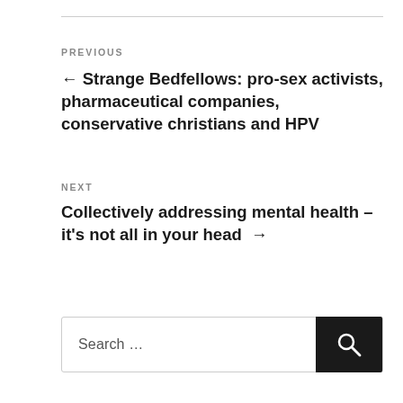PREVIOUS
← Strange Bedfellows: pro-sex activists, pharmaceutical companies, conservative christians and HPV
NEXT
Collectively addressing mental health – it's not all in your head →
Search …